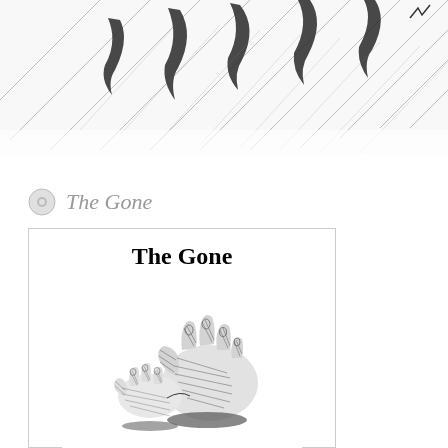[Figure (illustration): Pencil sketch illustration of a tiger or large cat, partially cropped at the top of the page showing fur texture and stripes]
The Gone
[Figure (illustration): Book or card cover showing title 'The Gone' at top, a pen-and-ink illustration of two hands (one adult, one child) touching or parting, and the question text below: 'What would you do if you walked off a plane and there was no one left?']
What would you do if you walked off a plane and there was no one left?